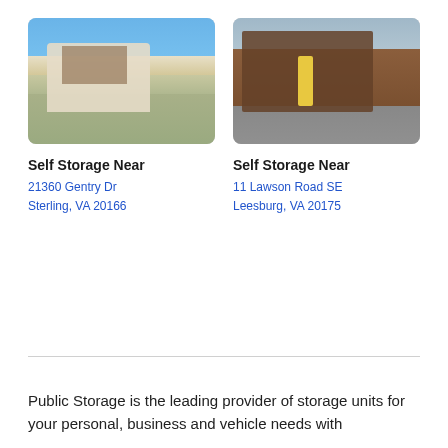[Figure (photo): Exterior photo of a storage facility building with white/cream facade, pink flowering tree, and blue sky background. Located at 21360 Gentry Dr, Sterling, VA 20166.]
Self Storage Near
21360 Gentry Dr
Sterling, VA 20166
[Figure (photo): Exterior photo of a red brick storage facility building with yellow bollards and parking area. Located at 11 Lawson Road SE, Leesburg, VA 20175.]
Self Storage Near
11 Lawson Road SE
Leesburg, VA 20175
Public Storage is the leading provider of storage units for your personal, business and vehicle needs with